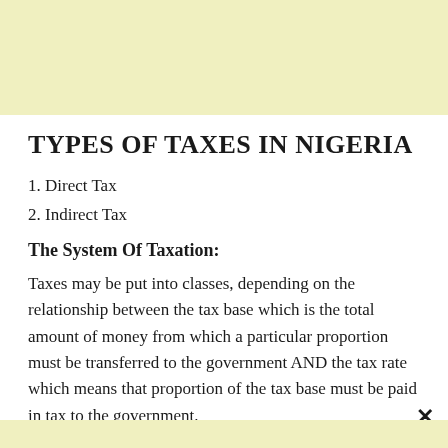TYPES OF TAXES IN NIGERIA
1. Direct Tax
2. Indirect Tax
The System Of Taxation:
Taxes may be put into classes, depending on the relationship between the tax base which is the total amount of money from which a particular proportion must be transferred to the government AND the tax rate which means that proportion of the tax base must be paid in tax to the government.